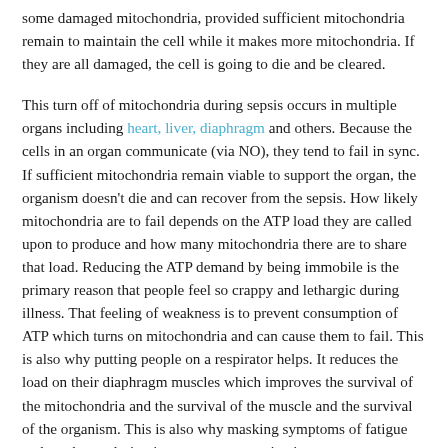some damaged mitochondria, provided sufficient mitochondria remain to maintain the cell while it makes more mitochondria. If they are all damaged, the cell is going to die and be cleared.
This turn off of mitochondria during sepsis occurs in multiple organs including heart, liver, diaphragm and others. Because the cells in an organ communicate (via NO), they tend to fail in sync. If sufficient mitochondria remain viable to support the organ, the organism doesn't die and can recover from the sepsis. How likely mitochondria are to fail depends on the ATP load they are called upon to produce and how many mitochondria there are to share that load. Reducing the ATP demand by being immobile is the primary reason that people feel so crappy and lethargic during illness. That feeling of weakness is to prevent consumption of ATP which turns on mitochondria and can cause them to fail. This is also why putting people on a respirator helps. It reduces the load on their diaphragm muscles which improves the survival of the mitochondria and the survival of the muscle and the survival of the organism. This is also why masking symptoms of fatigue and weakness during immune system activation can